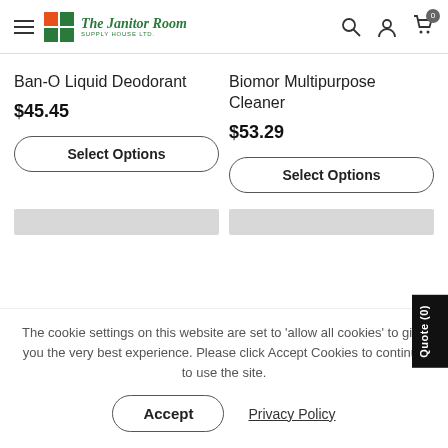The Janitor Room Supply House Ltd. — navigation header
Ban-O Liquid Deodorant
$45.45
Select Options
Biomor Multipurpose Cleaner
$53.29
Select Options
The cookie settings on this website are set to 'allow all cookies' to give you the very best experience. Please click Accept Cookies to continue to use the site.
Accept
Privacy Policy